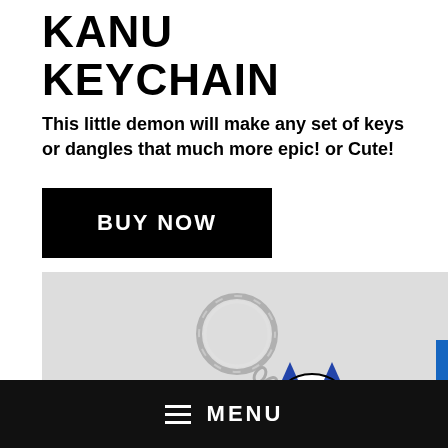KANU KEYCHAIN
This little demon will make any set of keys or dangles that much more epic! or Cute!
BUY NOW
[Figure (photo): A keychain with a metal ring and chain attached to a small character/demon figure keychain accessory]
≡ MENU